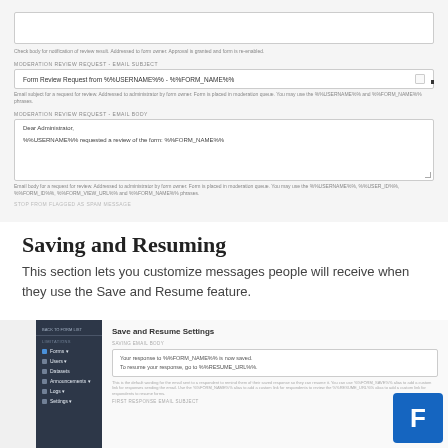[Figure (screenshot): UI screenshot showing moderation review request email settings with text areas for email subject and body. Subject field shows 'Form Review Request from %%USERNAME%% - %%FORM_NAME%%'. Body shows 'Dear Administrator, %%USERNAME%% requested a review of the form: %%FORM_NAME%%'. Helper text and spam message placeholder visible.]
Saving and Resuming
This section lets you customize messages people will receive when they use the Save and Resume feature.
[Figure (screenshot): UI screenshot showing Save and Resume Settings panel with sidebar navigation (Forms, Users, Datasets, Announcements, Logs, Settings) and main content area showing SAVING EMAIL BODY field with placeholder text about %%FORM_SAVE%% alias and resume link %%RESUME_URL%%.]